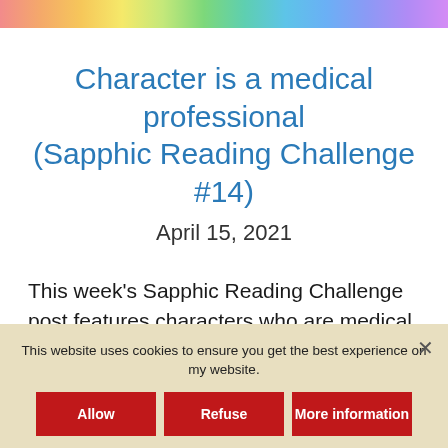[Figure (illustration): Rainbow gradient color bar spanning full width at top of page]
Character is a medical professional (Sapphic Reading Challenge #14)
April 15, 2021
This week's Sapphic Reading Challenge post features characters who are medical professionals. Most of the books are medical romance novels, but any book with a protagonist who works in health care counts — physician, dentist, psychologist, pharmacist, EMT, chiropractor, paramedic, or EMT...